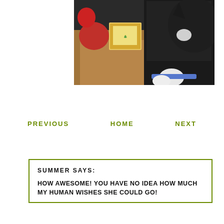[Figure (photo): A black and white cat looking into a cardboard box containing Christmas gifts and decorations including what appears to be a holiday card or book.]
PREVIOUS    HOME    NEXT
SUMMER SAYS:

HOW AWESOME! YOU HAVE NO IDEA HOW MUCH MY HUMAN WISHES SHE COULD GO!